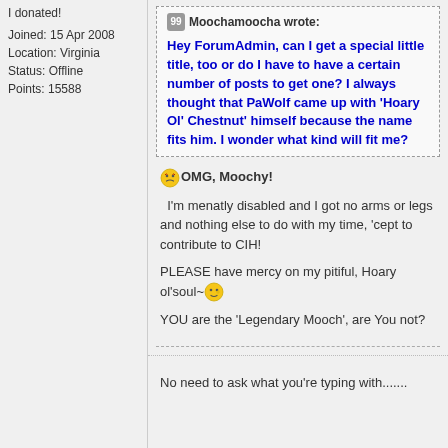I donated!

Joined: 15 Apr 2008
Location: Virginia
Status: Offline
Points: 15588
Moochamoocha wrote:
Hey ForumAdmin, can I get a special little title, too or do I have to have a certain number of posts to get one? I always thought that PaWolf came up with 'Hoary Ol' Chestnut' himself because the name fits him. I wonder what kind will fit me?
OMG, Moochy!

I'm menatly disabled and I got no arms or legs and nothing else to do with my time, 'cept to contribute to CIH!

PLEASE have mercy on my pitiful, Hoary ol'soul~

YOU are the 'Legendary Mooch', are You not?
No need to ask what you're typing with.......